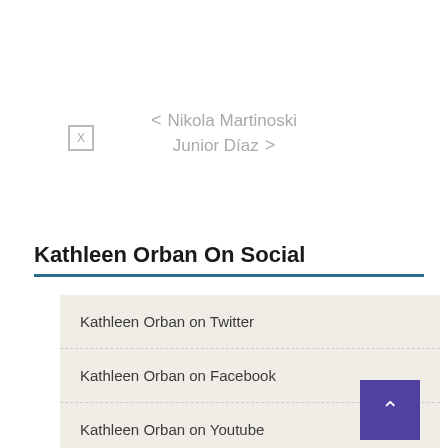< Nikola Martinoski
Junior Díaz >
Kathleen Orban On Social
Kathleen Orban on Twitter
Kathleen Orban on Facebook
Kathleen Orban on Youtube
Kathleen Orban on Instagram